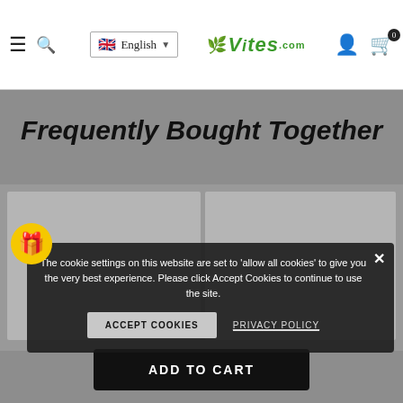Vites.com — English language selector, hamburger menu, search, user, cart (0)
Frequently Bought Together
[Figure (screenshot): Cookie consent overlay with gift icon, message about cookie settings, Accept Cookies button, Privacy Policy link, and close (X) button]
The cookie settings on this website are set to 'allow all cookies' to give you the very best experience. Please click Accept Cookies to continue to use the site.
ACCEPT COOKIES
PRIVACY POLICY
ADD TO CART